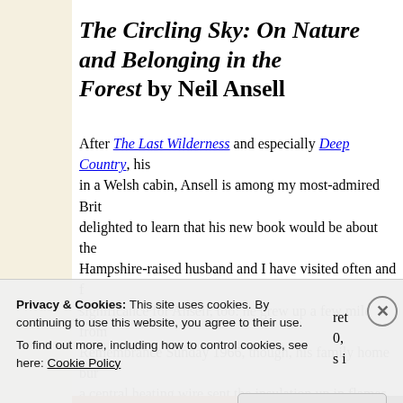The Circling Sky: On Nature and Belonging in the New Forest by Neil Ansell
After The Last Wilderness and especially Deep Country, his account of five years alone in a Welsh cabin, Ansell is among my most-admired British nature writers. I was delighted to learn that his new book would be about the New Forest, which my Hampshire-raised husband and I have visited often and feel great fondness for. It has significance for Ansell, too: he grew up a few miles from its edge. On Remembrance Sunday 1966, though, his family home burned down after a central heating wire sent the insulation up in flames. He was shaped by this incident, making him a person who doesn't...
Privacy & Cookies: This site uses cookies. By continuing to use this website, you agree to their use.
To find out more, including how to control cookies, see here: Cookie Policy